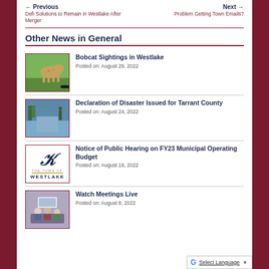← Previous | Defi Solutions to Remain in Westlake After Merger | Next → | Problem Getting Town Emails?
Other News in General
Bobcat Sightings in Westlake
Posted on: August 29, 2022
Declaration of Disaster Issued for Tarrant County
Posted on: August 24, 2022
Notice of Public Hearing on FY23 Municipal Operating Budget
Posted on: August 19, 2022
Watch Meetings Live
Posted on: August 8, 2022
G Select Language ▼